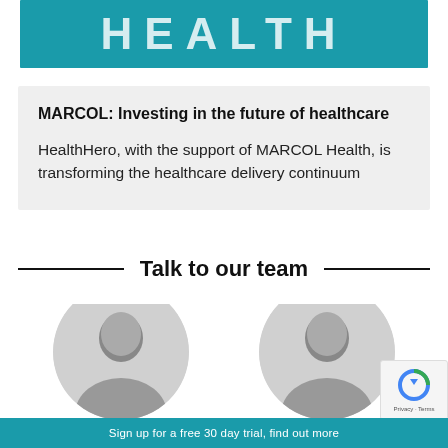[Figure (logo): MARCOL HEALTH logo banner in teal/turquoise background with white uppercase bold text]
MARCOL: Investing in the future of healthcare
HealthHero, with the support of MARCOL Health, is transforming the healthcare delivery continuum
Talk to our team
[Figure (photo): Two circular portrait photos of team members (women with dark hair), partially cropped at bottom]
[Figure (other): reCAPTCHA badge in bottom right corner]
Sign up for a free 30 day trial, find out more